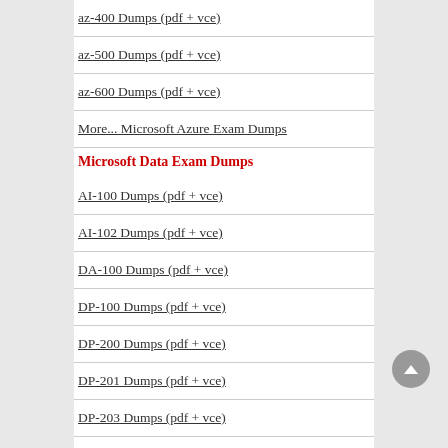az-400 Dumps (pdf + vce)
az-500 Dumps (pdf + vce)
az-600 Dumps (pdf + vce)
More... Microsoft Azure Exam Dumps
Microsoft Data Exam Dumps
AI-100 Dumps (pdf + vce)
AI-102 Dumps (pdf + vce)
DA-100 Dumps (pdf + vce)
DP-100 Dumps (pdf + vce)
DP-200 Dumps (pdf + vce)
DP-201 Dumps (pdf + vce)
DP-203 Dumps (pdf + vce)